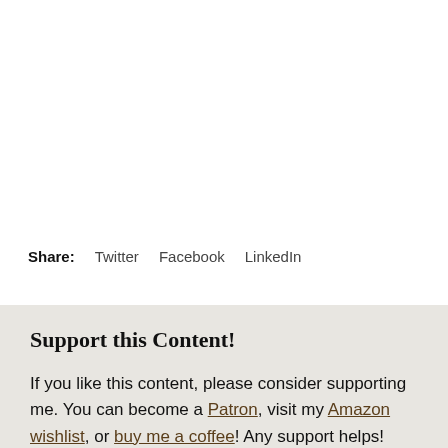Share: Twitter Facebook LinkedIn
Support this Content!
If you like this content, please consider supporting me. You can become a Patron, visit my Amazon wishlist, or buy me a coffee! Any support helps!